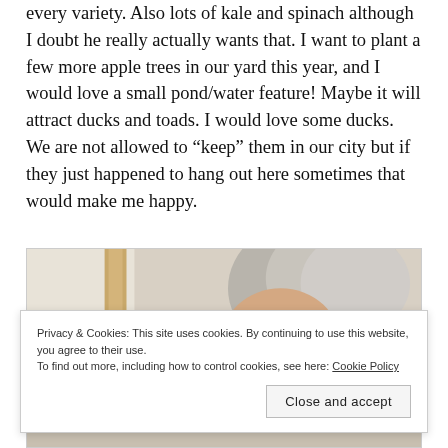every variety. Also lots of kale and spinach although I doubt he really actually wants that. I want to plant a few more apple trees in our yard this year, and I would love a small pond/water feature! Maybe it will attract ducks and toads. I would love some ducks. We are not allowed to “keep” them in our city but if they just happened to hang out here sometimes that would make me happy.
[Figure (photo): An elderly woman with white/gray hair and glasses, photographed close-up, looking downward. The image is partially obscured by a cookie consent banner overlay.]
Privacy & Cookies: This site uses cookies. By continuing to use this website, you agree to their use.
To find out more, including how to control cookies, see here: Cookie Policy
Close and accept